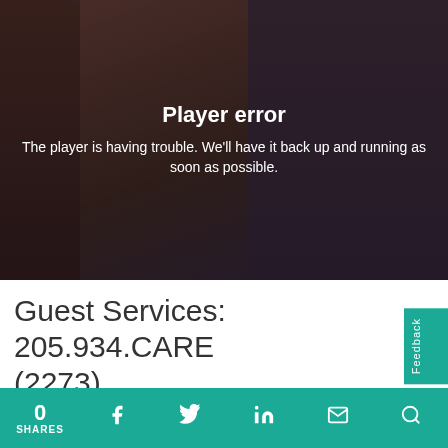[Figure (screenshot): Video player showing people in a medical/hospital setting with a player error overlay message: 'Player error - The player is having trouble. We'll have it back up and running as soon as possible.']
Guest Services: 205.934.CARE (2273)
Patient and Visitor Guide (English)
0 SHARES | Facebook | Twitter | LinkedIn | Email | Search | Feedback